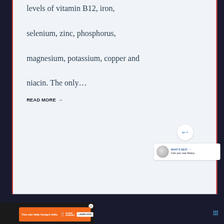levels of vitamin B12, iron, selenium, zinc, phosphorus, magnesium, potassium, copper and niacin. The only…
READ MORE →
WHAT'S NEXT → Can you use heavy...
You can help hungry kids. NOKID HUNGRY LEARN HOW